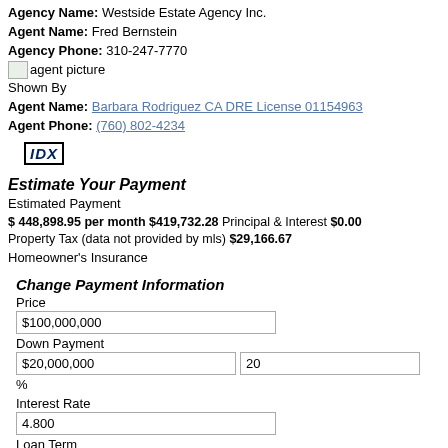Agency Name: Westside Estate Agency Inc.
Agent Name: Fred Bernstein
Agency Phone: 310-247-7770
[Figure (photo): agent picture placeholder image]
Shown By
Agent Name: Barbara Rodriguez CA DRE License 01154963
Agent Phone: (760) 802-4234
[Figure (logo): IDX logo box]
Estimate Your Payment
Estimated Payment
$ 448,898.95 per month $419,732.28 Principal & Interest $0.00
Property Tax (data not provided by mls) $29,166.67
Homeowner's Insurance
Change Payment Information
Price
$100,000,000
Down Payment
$20,000,000
20
%
Interest Rate
4.800
Loan Term